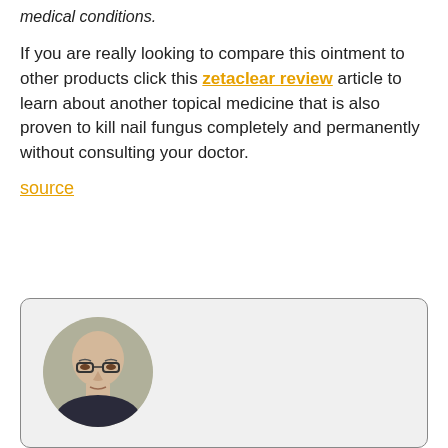medical conditions.
If you are really looking to compare this ointment to other products click this zetaclear review article to learn about another topical medicine that is also proven to kill nail fungus completely and permanently without consulting your doctor.
source
[Figure (photo): A circular portrait photo of a bald man wearing glasses, shown from the shoulders up, inside a rounded card with a light gray background.]